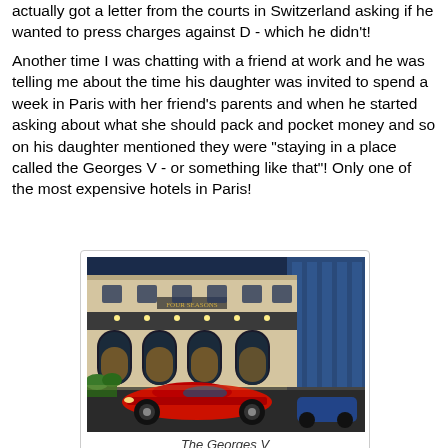actually got a letter from the courts in Switzerland asking if he wanted to press charges against D - which he didn't!
Another time I was chatting with a friend at work and he was telling me about the time his daughter was invited to spend a week in Paris with her friend's parents and when he started asking about what she should pack and pocket money and so on his daughter mentioned they were "staying in a place called the Georges V - or something like that"! Only one of the most expensive hotels in Paris!
[Figure (photo): Photo of the Georges V hotel in Paris at night with a red sports car parked in front]
The Georges V